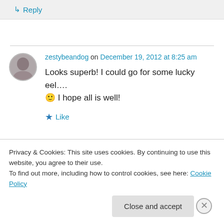↳ Reply
zestybeandog on December 19, 2012 at 8:25 am
Looks superb! I could go for some lucky eel….
🙂 I hope all is well!
★ Like
Privacy & Cookies: This site uses cookies. By continuing to use this website, you agree to their use.
To find out more, including how to control cookies, see here: Cookie Policy
Close and accept